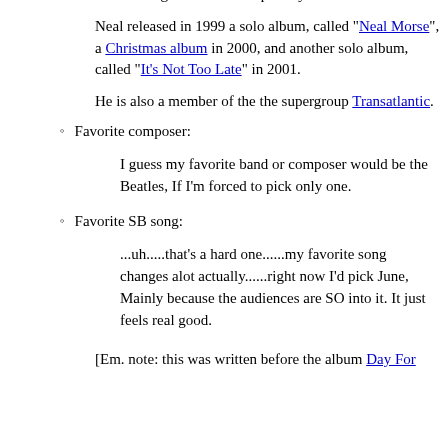Beard being the immediate priority.
Neal released in 1999 a solo album, called "Neal Morse", a Christmas album in 2000, and another solo album, called "It's Not Too Late" in 2001.
He is also a member of the the supergroup Transatlantic.
Favorite composer:
I guess my favorite band or composer would be the Beatles, If I'm forced to pick only one.
Favorite SB song:
...uh.....that's a hard one......my favorite song changes alot actually......right now I'd pick June, Mainly because the audiences are SO into it. It just feels real good.
[Em. note: this was written before the album Day For